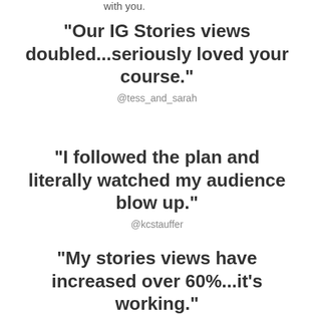with you.
"Our IG Stories views doubled...seriously loved your course."
@tess_and_sarah
"I followed the plan and literally watched my audience blow up."
@kcstauffer
"My stories views have increased over 60%...it's working."